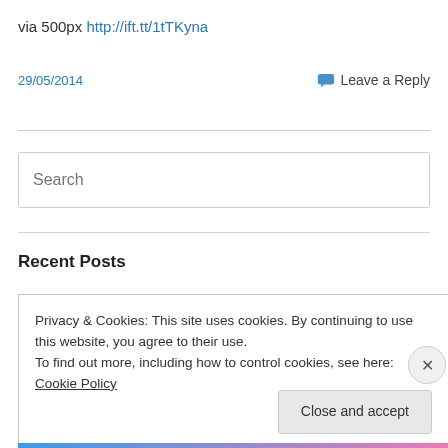via 500px http://ift.tt/1tTKyna
29/05/2014
Leave a Reply
Search
Recent Posts
Privacy & Cookies: This site uses cookies. By continuing to use this website, you agree to their use.
To find out more, including how to control cookies, see here: Cookie Policy
Close and accept